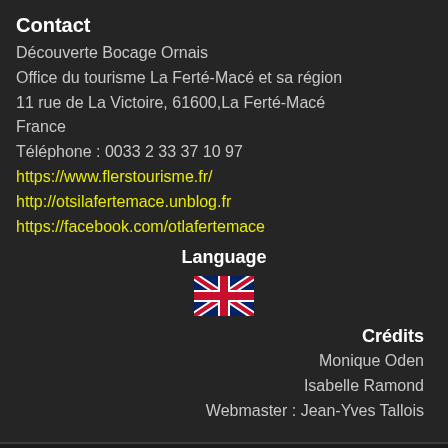Contact
Découverte Bocage Ornais
Office du tourisme La Ferté-Macé et sa région
11 rue de La Victoire, 61600,La Ferté-Macé
France
Téléphone : 0033 2 33 37 10 97
https://www.flerstourisme.fr/
http://otsilafertemace.unblog.fr
https://facebook.com/otlafertemace
Language
[Figure (illustration): UK flag emoji]
Crédits
Monique Oden
Isabelle Ramond
Webmaster : Jean-Yves Tallois
© Copyright decouvertebocageornais.fr - Tous droits réservés.
JYT : DBO v11.01